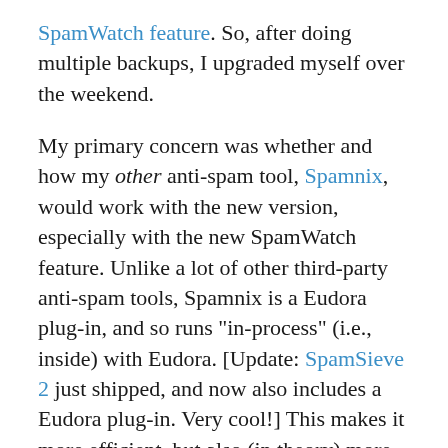SpamWatch feature. So, after doing multiple backups, I upgraded myself over the weekend.
My primary concern was whether and how my other anti-spam tool, Spamnix, would work with the new version, especially with the new SpamWatch feature. Unlike a lot of other third-party anti-spam tools, Spamnix is a Eudora plug-in, and so runs "in-process" (i.e., inside) with Eudora. [Update: SpamSieve 2 just shipped, and now also includes a Eudora plug-in. Very cool!] This makes it more efficient, but also (in theory) more susceptible to compatibility issues.
I'm happy, nay, thrilled to report that Spamnix